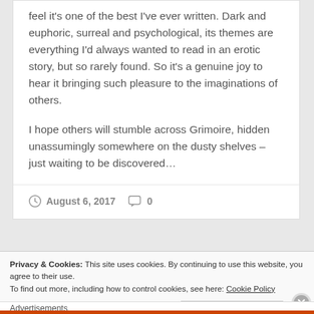feel it's one of the best I've ever written. Dark and euphoric, surreal and psychological, its themes are everything I'd always wanted to read in an erotic story, but so rarely found. So it's a genuine joy to hear it bringing such pleasure to the imaginations of others.
I hope others will stumble across Grimoire, hidden unassumingly somewhere on the dusty shelves – just waiting to be discovered…
August 6, 2017   0
Privacy & Cookies: This site uses cookies. By continuing to use this website, you agree to their use.
To find out more, including how to control cookies, see here: Cookie Policy
Close and accept
Advertisements